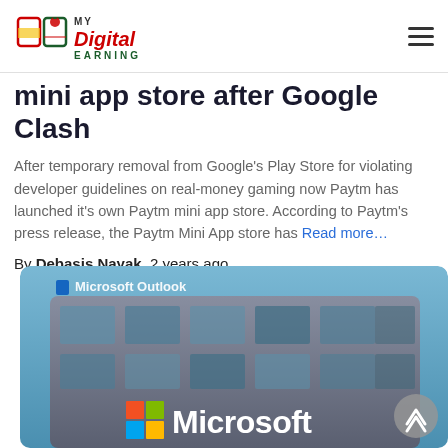My Digital Earning
mini app store after Google Clash
After temporary removal from Google's Play Store for violating developer guidelines on real-money gaming now Paytm has launched it's own Paytm mini app store. According to Paytm's press release, the Paytm Mini App store has Read more…
By Debasis Nayak, 2 years ago
[Figure (photo): Microsoft Outlook signage on a building with Microsoft logo and wordmark visible]